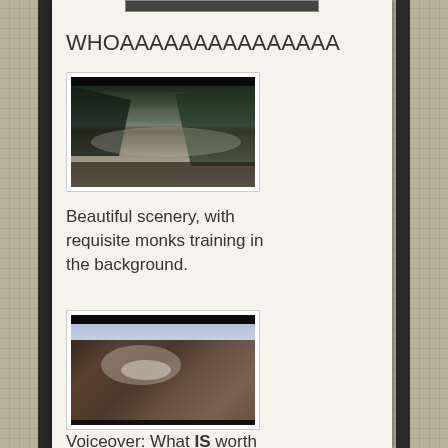[Figure (screenshot): Partial image stub visible at very top of page]
WHOAAAAAAAAAAAAAAA
[Figure (screenshot): Dark cinematic screenshot showing beautiful scenery with monks training in background, cliff/waterfall landscape]
Beautiful scenery, with requisite monks training in the background.
[Figure (screenshot): Dark cinematic screenshot showing a creature/animal face close-up against sky background]
Voiceover: What IS worth fighting for?